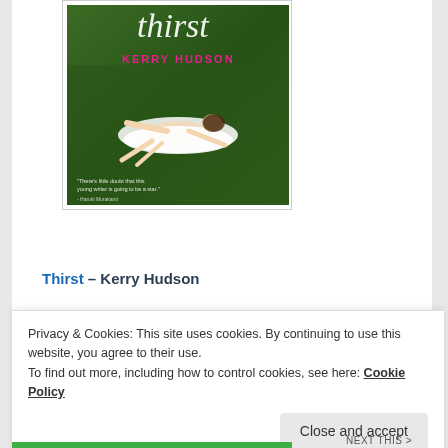[Figure (photo): Book cover of 'Thirst' by Kerry Hudson. A woman in a white dress lies on green grass. Pink text reads 'KERRY HUDSON'. Title 'thirst' in white handwritten font at top. Small quote text visible on left side.]
Thirst – Kerry Hudson
An unlikely love story between Dave, a Bond Street shop...
Privacy & Cookies: This site uses cookies. By continuing to use this website, you agree to their use.
To find out more, including how to control cookies, see here: Cookie Policy
Close and accept